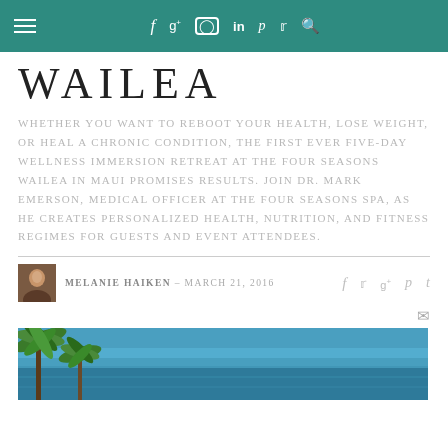≡  f  g+  ◎  in  p  𝗍  🔍
WAILEA
WHETHER YOU WANT TO REBOOT YOUR HEALTH, LOSE WEIGHT, OR HEAL A CHRONIC CONDITION, THE FIRST EVER FIVE-DAY WELLNESS IMMERSION RETREAT AT THE FOUR SEASONS WAILEA IN MAUI PROMISES RESULTS. JOIN DR. MARK EMERSON, MEDICAL OFFICER AT THE FOUR SEASONS SPA, AS HE CREATES PERSONALIZED HEALTH, NUTRITION, AND FITNESS REGIMES FOR GUESTS AND EVENT ATTENDEES.
MELANIE HAIKEN — MARCH 21, 2016
[Figure (photo): Tropical beach scene with palm trees and blue ocean water at Four Seasons Wailea, Maui]